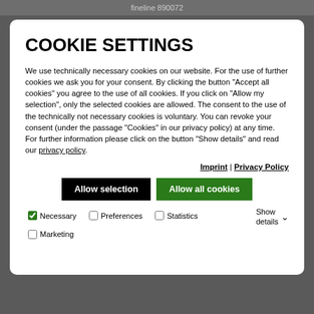fineline 890072
COOKIE SETTINGS
We use technically necessary cookies on our website. For the use of further cookies we ask you for your consent. By clicking the button "Accept all cookies" you agree to the use of all cookies. If you click on "Allow my selection", only the selected cookies are allowed. The consent to the use of the technically not necessary cookies is voluntary. You can revoke your consent (under the passage "Cookies" in our privacy policy) at any time. For further information please click on the button "Show details" and read our privacy policy.
Imprint | Privacy Policy
Allow selection  Allow all cookies
Necessary  Preferences  Statistics  Show details  Marketing